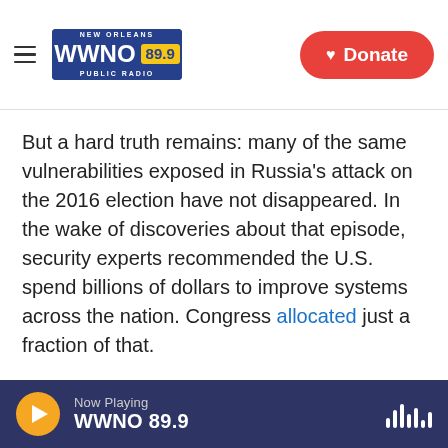NEW ORLEANS WWNO 89.9 PUBLIC RADIO — Donate
But a hard truth remains: many of the same vulnerabilities exposed in Russia's attack on the 2016 election have not disappeared. In the wake of discoveries about that episode, security experts recommended the U.S. spend billions of dollars to improve systems across the nation. Congress allocated just a fraction of that.
And while social media companies have worked to control influence operations and lies that spread on their platforms, the federal government has declined to regulate those changes. Experts say
Now Playing WWNO 89.9